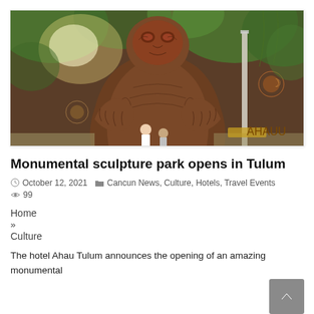[Figure (photo): Large wooden monumental sculpture of a human figure with intricate carved patterns and a masked face, set against a green tropical background. Two people are visible at the base of the sculpture.]
Monumental sculpture park opens in Tulum
October 12, 2021  Cancun News, Culture, Hotels, Travel Events  99
Home
»
Culture
The hotel Ahau Tulum announces the opening of an amazing monumental